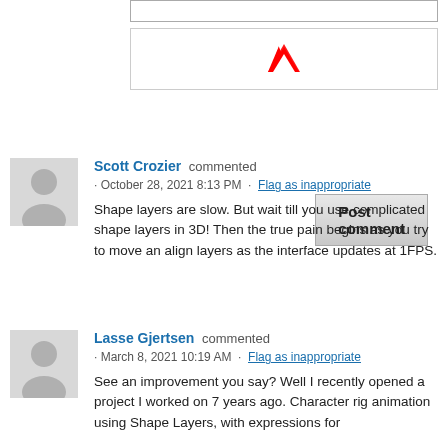[Figure (other): Text input box (partially visible at top)]
[Figure (logo): Adobe logo (red stylized 'A') inside a bordered box]
Post comment
Scott Crozier commented · October 28, 2021 8:13 PM · Flag as inappropriate
Shape layers are slow. But wait till you use complicated shape layers in 3D! Then the true pain begins as you try to move an align layers as the interface updates at 1FPS.
Lasse Gjertsen commented · March 8, 2021 10:19 AM · Flag as inappropriate
See an improvement you say? Well I recently opened a project I worked on 7 years ago. Character rig animation using Shape Layers, with expressions for